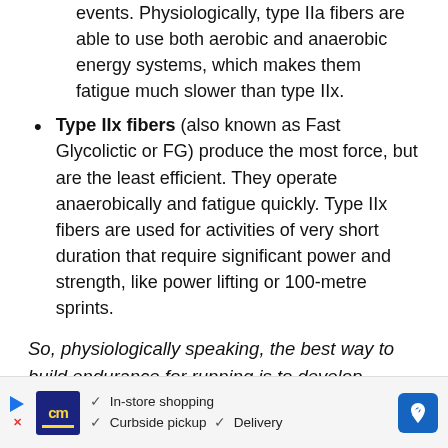events. Physiologically, type IIa fibers are able to use both aerobic and anaerobic energy systems, which makes them fatigue much slower than type IIx.
Type IIx fibers (also known as Fast Glycolictic or FG) produce the most force, but are the least efficient. They operate anaerobically and fatigue quickly. Type IIx fibers are used for activities of very short duration that require significant power and strength, like power lifting or 100-metre sprints.
So, physiologically speaking, the best way to build endurance for running is to develop strength in your slow-twitch muscle fibers (Type I) and grow mitochondria in your intermediate (Type IIa)
[Figure (other): Advertisement banner: cm logo with yellow text, checkmarks for In-store shopping, Curbside pickup, Delivery, and a blue navigation arrow icon on right]